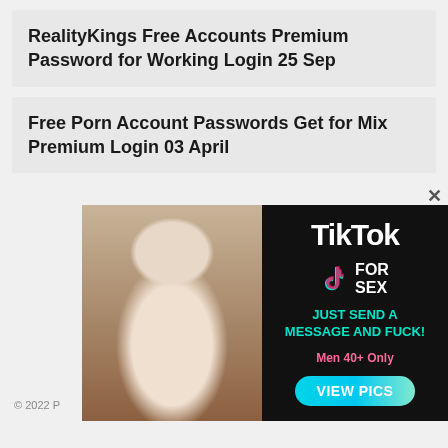RealityKings Free Accounts Premium Password for Working Login 25 Sep
Free Porn Account Passwords Get for Mix Premium Login 03 April
[Figure (photo): Advertisement banner with a photo and TikTok For Sex promotional text]
© 2022 P